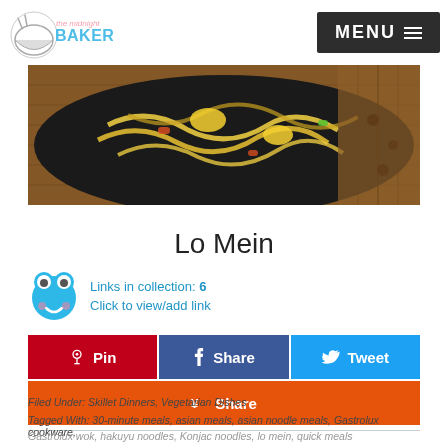The Midnight Baker — MENU
[Figure (photo): A black skillet filled with lo mein noodles, vegetables, and egg on a bamboo mat background]
Lo Mein
Links in collection: 6
Click to view/add link
Pin | Share | Tweet | Share
Filed Under: Skillet Dinners, Vegetarian Dishes
Tagged With: 30-minute meals, asian meals, asian noodle meals, Gastrolux cookware, Gastrolux wok, hakuyu noodles, Konjac noodles, lo mein, quick meals